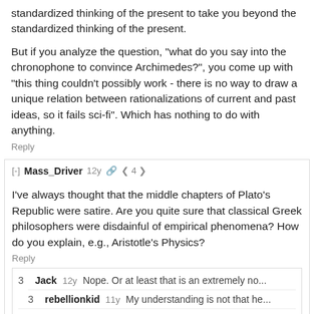standardized thinking of the present to take you beyond the standardized thinking of the present.
But if you analyze the question, "what do you say into the chronophone to convince Archimedes?", you come up with "this thing couldn't possibly work - there is no way to draw a unique relation between rationalizations of current and past ideas, so it fails sci-fi". Which has nothing to do with anything.
Reply
[-] Mass_Driver 12y 🔗 < 4 >
I've always thought that the middle chapters of Plato's Republic were satire. Are you quite sure that classical Greek philosophers were disdainful of empirical phenomena? How do you explain, e.g., Aristotle's Physics?
Reply
3 Jack 12y Nope. Or at least that is an extremely no...
3 rebellionkid 11y My understanding is not that he...
3 thomblake 11y I've held the same view, and whil...